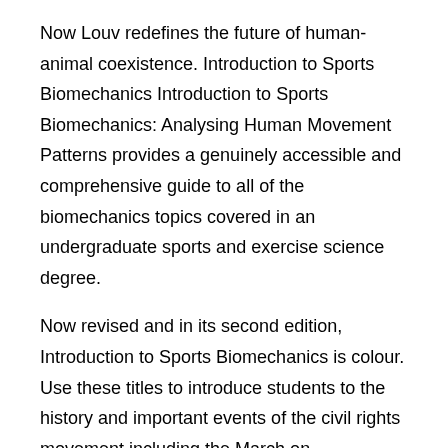Now Louv redefines the future of human-animal coexistence. Introduction to Sports Biomechanics Introduction to Sports Biomechanics: Analysing Human Movement Patterns provides a genuinely accessible and comprehensive guide to all of the biomechanics topics covered in an undergraduate sports and exercise science degree.
Now revised and in its second edition, Introduction to Sports Biomechanics is colour. Use these titles to introduce students to the history and important events of the civil rights movement including the March on Washington, the Montgomery bus boycott, and more.
This list includes fiction, nonfiction, and biographies, and can be used both during Black History Month and throughout the year.
What goes by the name of “character education” has enjoyed something of a resurgence in the mids, and we would do well to understand just what beliefs about human nature are driving the movement, or at least some of its most prominent advocates. In